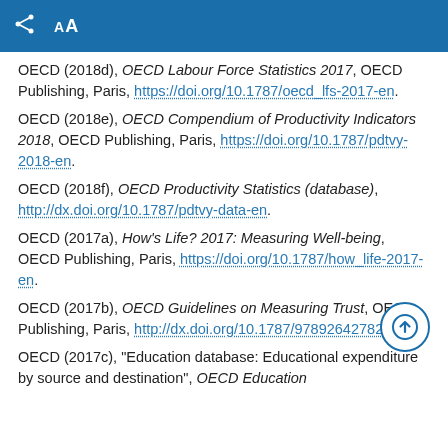AA
OECD (2018d), OECD Labour Force Statistics 2017, OECD Publishing, Paris, https://doi.org/10.1787/oecd_lfs-2017-en.
OECD (2018e), OECD Compendium of Productivity Indicators 2018, OECD Publishing, Paris, https://doi.org/10.1787/pdtvy-2018-en.
OECD (2018f), OECD Productivity Statistics (database), http://dx.doi.org/10.1787/pdtvy-data-en.
OECD (2017a), How's Life? 2017: Measuring Well-being, OECD Publishing, Paris, https://doi.org/10.1787/how_life-2017-en.
OECD (2017b), OECD Guidelines on Measuring Trust, OECD Publishing, Paris, http://dx.doi.org/10.1787/9789264278219-en.
OECD (2017c), "Education database: Educational expenditure by source and destination", OECD Education